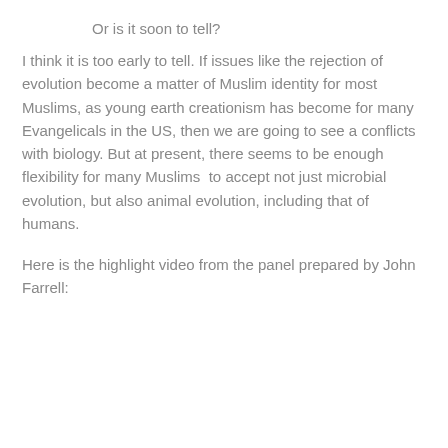Or is it soon to tell?
I think it is too early to tell. If issues like the rejection of evolution become a matter of Muslim identity for most Muslims, as young earth creationism has become for many Evangelicals in the US, then we are going to see a conflicts with biology. But at present, there seems to be enough flexibility for many Muslims  to accept not just microbial evolution, but also animal evolution, including that of humans.
Here is the highlight video from the panel prepared by John Farrell: